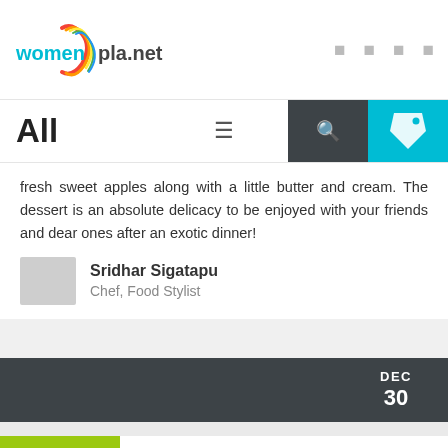[Figure (logo): womenplanet logo with colorful feather icon]
All
fresh sweet apples along with a little butter and cream. The dessert is an absolute delicacy to be enjoyed with your friends and dear ones after an exotic dinner!
Sridhar Sigatapu
Chef, Food Stylist
DEC
30
Mushroom Parmesan Soufflé